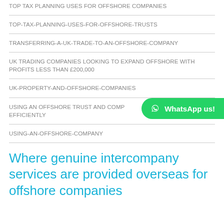TOP-TAX-PLANNING-USES-FOR-OFFSHORE-COMPANIES
TOP-TAX-PLANNING-USES-FOR-OFFSHORE-TRUSTS
TRANSFERRING-A-UK-TRADE-TO-AN-OFFSHORE-COMPANY
UK TRADING COMPANIES LOOKING TO EXPAND OFFSHORE WITH PROFITS LESS THAN £200,000
UK-PROPERTY-AND-OFFSHORE-COMPANIES
USING AN OFFSHORE TRUST AND COMPANY TOGETHER TAX EFFICIENTLY
USING-AN-OFFSHORE-COMPANY
Where genuine intercompany services are provided overseas for offshore companies